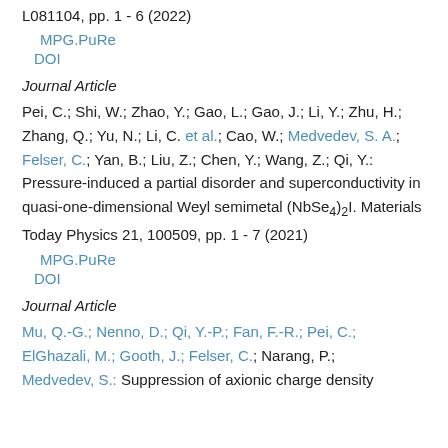L081104, pp. 1 - 6 (2022)
MPG.PuRe
DOI
Journal Article
Pei, C.; Shi, W.; Zhao, Y.; Gao, L.; Gao, J.; Li, Y.; Zhu, H.; Zhang, Q.; Yu, N.; Li, C. et al.; Cao, W.; Medvedev, S. A.; Felser, C.; Yan, B.; Liu, Z.; Chen, Y.; Wang, Z.; Qi, Y.: Pressure-induced a partial disorder and superconductivity in quasi-one-dimensional Weyl semimetal (NbSe4)2I. Materials Today Physics 21, 100509, pp. 1 - 7 (2021)
MPG.PuRe
DOI
Journal Article
Mu, Q.-G.; Nenno, D.; Qi, Y.-P.; Fan, F.-R.; Pei, C.; ElGhazali, M.; Gooth, J.; Felser, C.; Narang, P.; Medvedev, S.: Suppression of axionic charge density